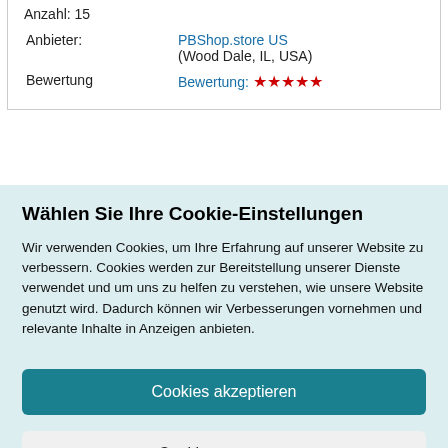Anzahl: 15
| Anbieter: | PBShop.store US
(Wood Dale, IL, USA) |
| Bewertung | Bewertung: ★★★★★ |
Wählen Sie Ihre Cookie-Einstellungen
Wir verwenden Cookies, um Ihre Erfahrung auf unserer Website zu verbessern. Cookies werden zur Bereitstellung unserer Dienste verwendet und um uns zu helfen zu verstehen, wie unsere Website genutzt wird. Dadurch können wir Verbesserungen vornehmen und relevante Inhalte in Anzeigen anbieten.
Cookies akzeptieren
Cookies anpassen